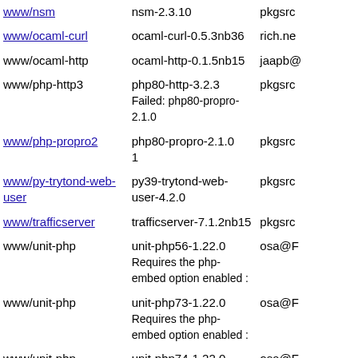| Package | Version | Maintainer |
| --- | --- | --- |
| www/nsm | nsm-2.3.10 | pkgsrc |
| www/ocaml-curl | ocaml-curl-0.5.3nb36 | rich.ne |
| www/ocaml-http | ocaml-http-0.1.5nb15 | jaapb@ |
| www/php-http3 | php80-http-3.2.3
Failed: php80-propro-2.1.0 | pkgsrc |
| www/php-propro2 | php80-propro-2.1.0  1 | pkgsrc |
| www/py-trytond-web-user | py39-trytond-web-user-4.2.0 | pkgsrc |
| www/trafficserver | trafficserver-7.1.2nb15 | pkgsrc |
| www/unit-php | unit-php56-1.22.0
Requires the php-embed option enabled : | osa@F |
| www/unit-php | unit-php73-1.22.0
Requires the php-embed option enabled : | osa@F |
| www/unit-php | unit-php74-1.22.0
Requires the php-embed option enabled : | osa@F |
| www/unit-ruby | unit-ruby26-1.22.0 | osa@F |